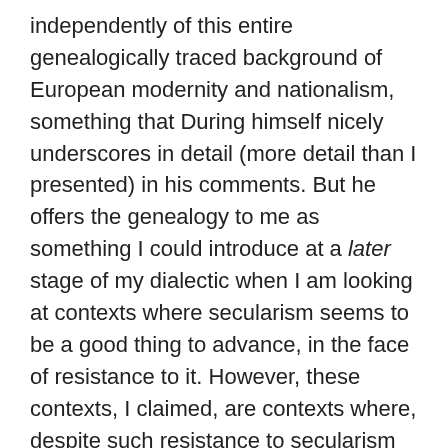independently of this entire genealogically traced background of European modernity and nationalism, something that During himself nicely underscores in detail (more detail than I presented) in his comments. But he offers the genealogy to me as something I could introduce at a later stage of my dialectic when I am looking at contexts where secularism seems to be a good thing to advance, in the face of resistance to it. However, these contexts, I claimed, are contexts where, despite such resistance to secularism from religious identitarian groups, the conditions of European modernity described in my paper (and in greater detail in other work) had already been replicated in countries outside the main orbit of European or Western society. (I had in particular considered India in the period of the late 1980s and after when this form of religious nationalism and